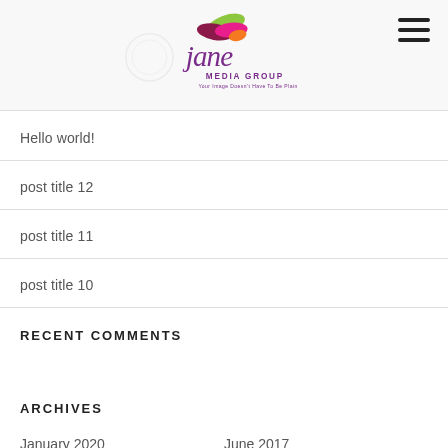[Figure (logo): Jane Media Group logo with colorful leaf shapes and purple script text, tagline: Your Image Doesn't Have To Be Plain]
Hello world!
post title 12
post title 11
post title 10
RECENT COMMENTS
ARCHIVES
January 2020   June 2017